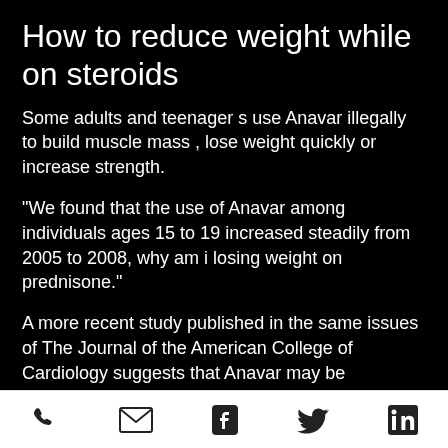How to reduce weight while on steroids
Some adults and teenager s use Anavar illegally to build muscle mass , lose weight quickly or increase strength.
"We found that the use of Anavar among individuals ages 15 to 19 increased steadily from 2005 to 2008, why am i losing weight on prednisone."
A more recent study published in the same issues of The Journal of the American College of Cardiology suggests that Anavar may be beneficial for adults and adolescent "because of its antidiabetic effects and favorable effects on lipid profiles.
[Figure (infographic): Footer bar with five social/contact icons: phone, email/envelope, Facebook, Twitter, LinkedIn]